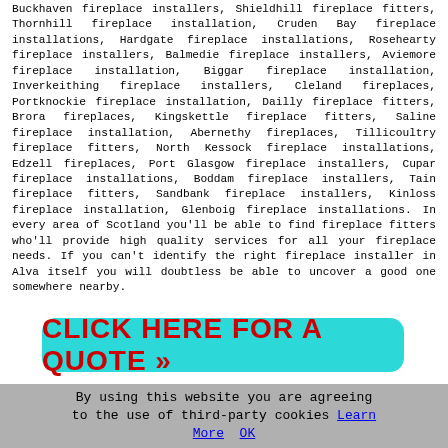Buckhaven fireplace installers, Shieldhill fireplace fitters, Thornhill fireplace installation, Cruden Bay fireplace installations, Hardgate fireplace installations, Rosehearty fireplace installers, Balmedie fireplace installers, Aviemore fireplace installation, Biggar fireplace installation, Inverkeithing fireplace installers, Cleland fireplaces, Portknockie fireplace installation, Dailly fireplace fitters, Brora fireplaces, Kingskettle fireplace fitters, Saline fireplace installation, Abernethy fireplaces, Tillicoultry fireplace fitters, North Kessock fireplace installations, Edzell fireplaces, Port Glasgow fireplace installers, Cupar fireplace installations, Boddam fireplace installers, Tain fireplace fitters, Sandbank fireplace installers, Kinloss fireplace installation, Glenboig fireplace installations. In every area of Scotland you'll be able to find fireplace fitters who'll provide high quality services for all your fireplace needs. If you can't identify the right fireplace installer in Alva itself you will doubtless be able to uncover a good one somewhere nearby.
[Figure (other): Teal rounded rectangle button with red bold text: CLICK HERE FOR A QUOTE >>]
By using this website you are agreeing to the use of third-party cookies Learn More OK